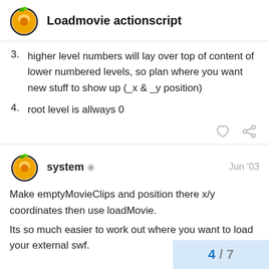Loadmovie actionscript
3. higher level numbers will lay over top of content of lower numbered levels, so plan where you want new stuff to show up (_x & _y position)
4. root level is allways 0
system   Jun '03
Make emptyMovieClips and position there x/y coordinates then use loadMovie.
Its so much easier to work out where you want to load your external swf.
4 / 7